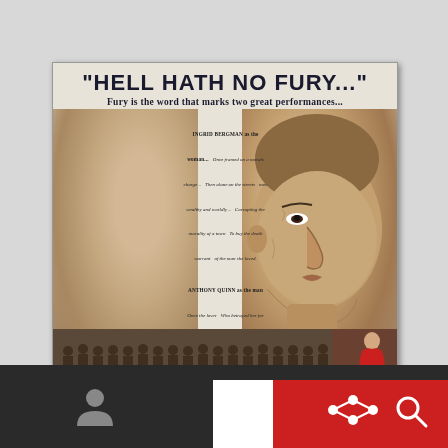[Figure (illustration): Vintage movie poster for a film with tagline 'HELL HATH NO FURY...' showing two faces in profile - a blonde woman on the left and a man on the right facing each other. Center text lists Ingrid Bergman as the woman and Anthony Quinn as the man with poetic descriptions of their roles. Bottom shows a crowd scene strip and a small figure in red dress.]
[Figure (screenshot): Dark bottom toolbar of a mobile app interface with person icon, search icon, and a red box with social/settings icons in the bottom right corner.]